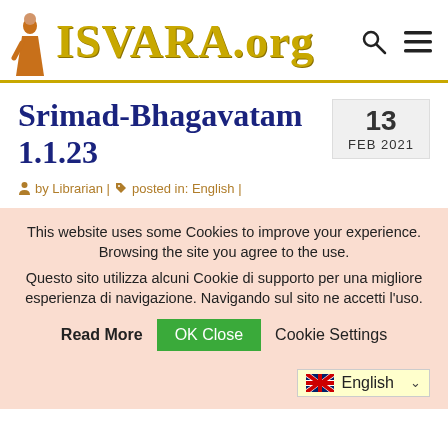[Figure (logo): ISVARA.org website logo with a monk figure and golden text on white background with gold underline]
Srimad-Bhagavatam 1.1.23
13 FEB 2021
by Librarian | posted in: English |
This website uses some Cookies to improve your experience. Browsing the site you agree to the use. Questo sito utilizza alcuni Cookie di supporto per una migliore esperienza di navigazione. Navigando sul sito ne accetti l'uso. Read More OK Close Cookie Settings
English